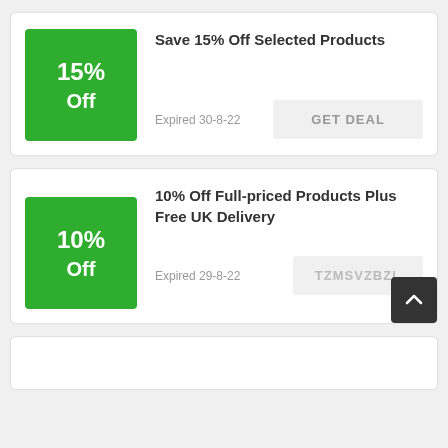[Figure (infographic): Green discount badge showing 15% Off]
Save 15% Off Selected Products
Expired 30-8-22
GET DEAL
[Figure (infographic): Green discount badge showing 10% Off]
10% Off Full-priced Products Plus Free UK Delivery
Expired 29-8-22
TZMSVZBZL